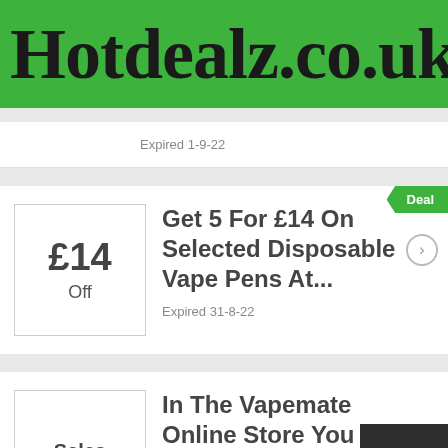Hotdealz.co.uk
Expired 1-9-22
Deal
[Figure (other): Price box showing £14 Off]
Get 5 For £14 On Selected Disposable Vape Pens At...
Expired 31-8-22
[Figure (other): Sales badge box]
In The Vapemate Online Store You Will Be Able To Se